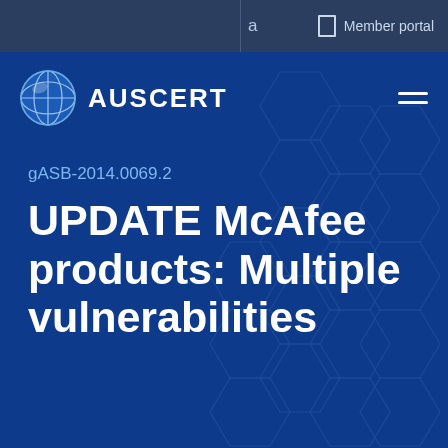a   Member portal
[Figure (logo): AusCERT globe logo with text AUSCERT]
gASB-2014.0069.2
UPDATE McAfee products: Multiple vulnerabilities